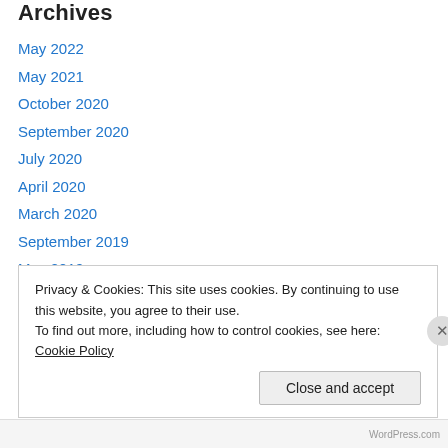Archives
May 2022
May 2021
October 2020
September 2020
July 2020
April 2020
March 2020
September 2019
May 2019
October 2018
February 2018
January 2018
Privacy & Cookies: This site uses cookies. By continuing to use this website, you agree to their use.
To find out more, including how to control cookies, see here: Cookie Policy
Close and accept